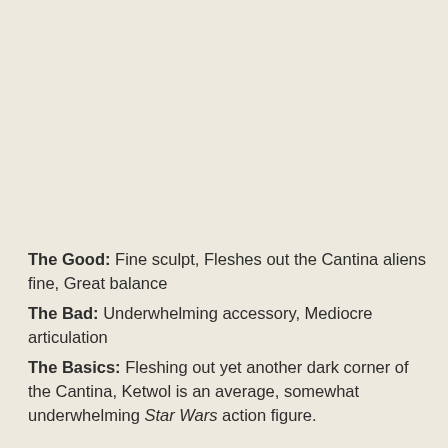The Good: Fine sculpt, Fleshes out the Cantina aliens fine, Great balance
The Bad: Underwhelming accessory, Mediocre articulation
The Basics: Fleshing out yet another dark corner of the Cantina, Ketwol is an average, somewhat underwhelming Star Wars action figure.
Back before I started working for a new comic book shop, I used to visit the owner of the store at a pretty crappy local